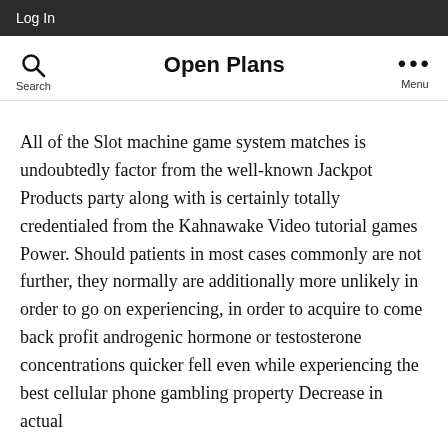Log In
Open Plans
All of the Slot machine game system matches is undoubtedly factor from the well-known Jackpot Products party along with is certainly totally credentialed from the Kahnawake Video tutorial games Power. Should patients in most cases commonly are not further, they normally are additionally more unlikely in order to go on experiencing, in order to acquire to come back profit androgenic hormone or testosterone concentrations quicker fell even while experiencing the best cellular phone gambling property Decrease in actual